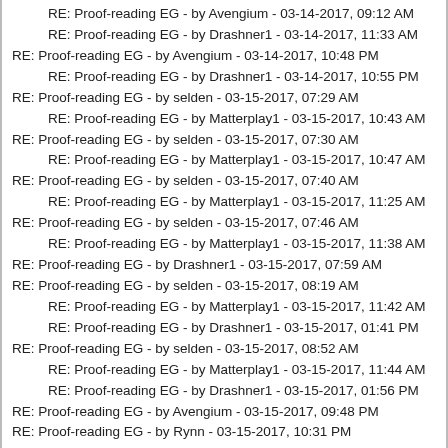RE: Proof-reading EG - by Avengium - 03-14-2017, 09:12 AM
RE: Proof-reading EG - by Drashner1 - 03-14-2017, 11:33 AM
RE: Proof-reading EG - by Avengium - 03-14-2017, 10:48 PM
RE: Proof-reading EG - by Drashner1 - 03-14-2017, 10:55 PM
RE: Proof-reading EG - by selden - 03-15-2017, 07:29 AM
RE: Proof-reading EG - by Matterplay1 - 03-15-2017, 10:43 AM
RE: Proof-reading EG - by selden - 03-15-2017, 07:30 AM
RE: Proof-reading EG - by Matterplay1 - 03-15-2017, 10:47 AM
RE: Proof-reading EG - by selden - 03-15-2017, 07:40 AM
RE: Proof-reading EG - by Matterplay1 - 03-15-2017, 11:25 AM
RE: Proof-reading EG - by selden - 03-15-2017, 07:46 AM
RE: Proof-reading EG - by Matterplay1 - 03-15-2017, 11:38 AM
RE: Proof-reading EG - by Drashner1 - 03-15-2017, 07:59 AM
RE: Proof-reading EG - by selden - 03-15-2017, 08:19 AM
RE: Proof-reading EG - by Matterplay1 - 03-15-2017, 11:42 AM
RE: Proof-reading EG - by Drashner1 - 03-15-2017, 01:41 PM
RE: Proof-reading EG - by selden - 03-15-2017, 08:52 AM
RE: Proof-reading EG - by Matterplay1 - 03-15-2017, 11:44 AM
RE: Proof-reading EG - by Drashner1 - 03-15-2017, 01:56 PM
RE: Proof-reading EG - by Avengium - 03-15-2017, 09:48 PM
RE: Proof-reading EG - by Rynn - 03-15-2017, 10:31 PM
RE: Proof-reading EG - by Avengium - 03-19-2017, 09:31 AM
RE: Proof-reading EG - by selden - 03-19-2017, 12:31 PM
RE: Proof-reading EG - by Matterplay1 - 03-19-2017, 02:12 PM
RE: Proof-reading EG - by selden - 03-19-2017, 10:18 PM